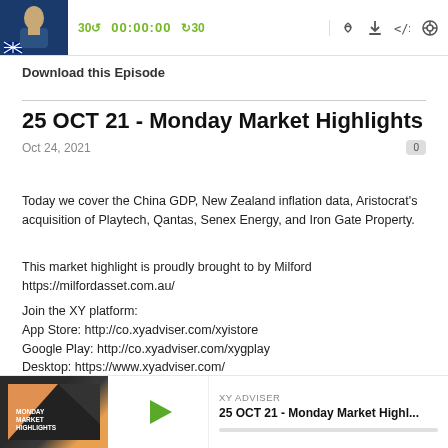[Figure (screenshot): Podcast audio player bar with thumbnail of man in suit, playback controls showing 00:00:00 timestamp in green, skip-30 and forward-30 buttons, and icons for streaming, download, embed, share]
Download this Episode
25 OCT 21 - Monday Market Highlights
Oct 24, 2021
Today we cover the China GDP, New Zealand inflation data, Aristocrat's acquisition of Playtech, Qantas, Senex Energy, and Iron Gate Property.
This market highlight is proudly brought to by Milford https://milfordasset.com.au/
Join the XY platform:
App Store: http://co.xyadviser.com/xyistore
Google Play: http://co.xyadviser.com/xygplay
Desktop: https://www.xyadviser.com/
General Disclaimer – https://www.xyadviser.com/disclaimer/
[Figure (screenshot): Bottom mini podcast player showing Monday Market Highlights thumbnail, green play button, XY Adviser label, and episode title 25 OCT 21 - Monday Market Highl...]